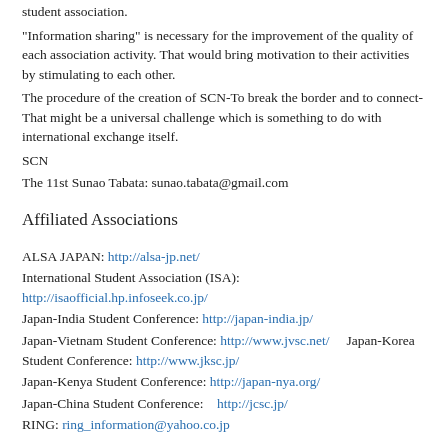student association.
“Information sharing” is necessary for the improvement of the quality of each association activity. That would bring motivation to their activities by stimulating to each other.
The procedure of the creation of SCN-To break the border and to connect-That might be a universal challenge which is something to do with international exchange itself.
SCN
The 11st Sunao Tabata: sunao.tabata@gmail.com
Affiliated Associations
ALSA JAPAN: http://alsa-jp.net/
International Student Association (ISA): http://isaofficial.hp.infoseek.co.jp/
Japan-India Student Conference: http://japan-india.jp/
Japan-Vietnam Student Conference: http://www.jvsc.net/    Japan-Korea Student Conference: http://www.jksc.jp/
Japan-Kenya Student Conference: http://japan-nya.org/
Japan-China Student Conference:   http://jcsc.jp/
RING: ring_information@yahoo.co.jp